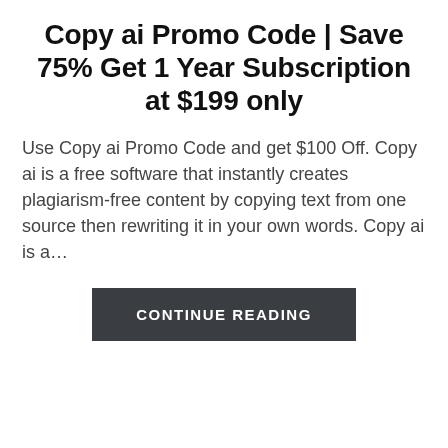Copy ai Promo Code | Save 75% Get 1 Year Subscription at $199 only
Use Copy ai Promo Code and get $100 Off. Copy ai is a free software that instantly creates plagiarism-free content by copying text from one source then rewriting it in your own words. Copy ai is a...
CONTINUE READING